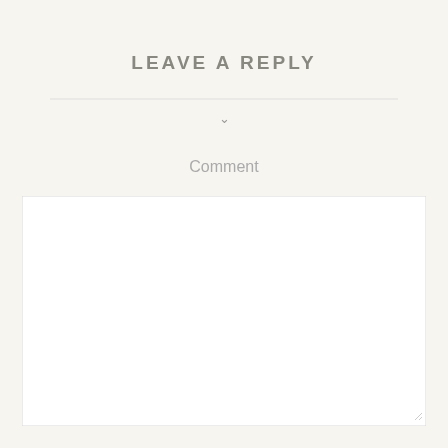LEAVE A REPLY
[Figure (other): Horizontal divider line with a downward chevron arrow below it]
Comment
[Figure (screenshot): Empty comment textarea input box with resize handle in bottom-right corner]